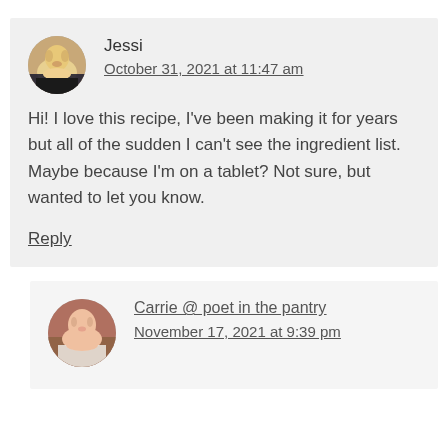Jessi
October 31, 2021 at 11:47 am
Hi! I love this recipe, I've been making it for years but all of the sudden I can't see the ingredient list. Maybe because I'm on a tablet? Not sure, but wanted to let you know.
Reply
Carrie @ poet in the pantry
November 17, 2021 at 9:39 pm